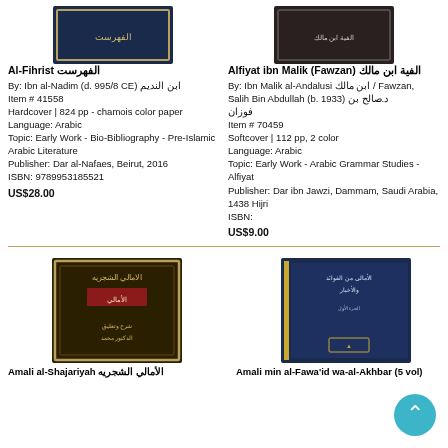[Figure (photo): Book cover of Al-Fihrist, dark blue with gold border]
Al-Fihrist الفهرست
By: Ibn al-Nadim (d. 995/8 CE) ابن النديم
Item # 41558
Hardcover | 824 pp - chamois color paper
Language: Arabic
Topic: Early Work - Bio-Bibliography - Pre-Islamic Arabic Literature
Publisher: Dar al-Nafaes, Beirut, 2016
ISBN: 9789953185521
US$28.00
[Figure (photo): Book cover of Alfiyat ibn Malik, dark background]
Alfiyat ibn Malik (Fawzan) الفية ابن مالك
By: Ibn Malik al-Andalusi ابن مالك / Fawzan, Salih Bin Abdullah (b. 1933) د.صالح بن فوزان
Item # 70459
Softcover | 112 pp, 2 color
Language: Arabic
Topic: Early Work - Arabic Grammar Studies - Alfiyat
Publisher: Dar ibn Jawzi, Dammam, Saudi Arabia, 1438 Hijri
ISBN:
US$9.00
[Figure (photo): Book cover of Amali al-Shajariyah, dark with gold Arabic calligraphy]
Amali al-Shajariyah الأمالي الشجريه
[Figure (photo): Book cover of Amali min al-Fawa'id wa-al-Akhbar, dark blue]
Amali min al-Fawa'id wa-al-Akhbar (5 vol)